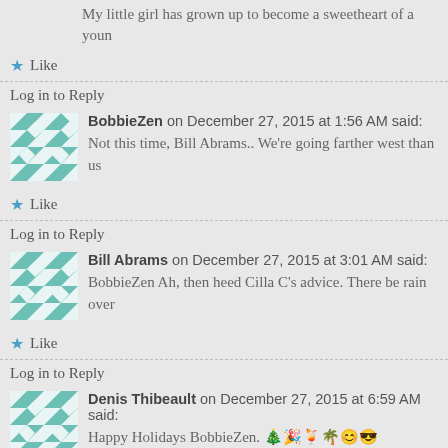My little girl has grown up to become a sweetheart of a youn
★ Like
Log in to Reply
BobbieZen on December 27, 2015 at 1:56 AM said:
Not this time, Bill Abrams.. We're going farther west than us
★ Like
Log in to Reply
Bill Abrams on December 27, 2015 at 3:01 AM said:
BobbieZen Ah, then heed Cilla C's advice. There be rain over
★ Like
Log in to Reply
Denis Thibeault on December 27, 2015 at 6:59 AM said:
Happy Holidays BobbieZen. 🎄🎉🍹🌴😊😎